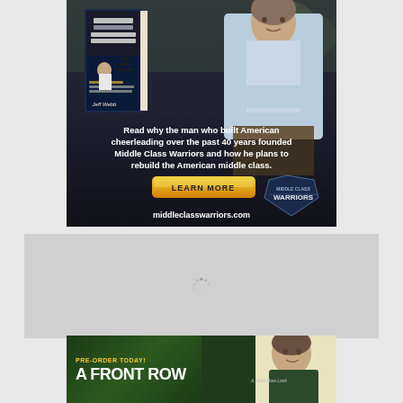[Figure (illustration): Advertisement for 'American Restoration' book by Jeff Webb, #1 Best Seller. Shows book cover and man with arms crossed. Text: 'Read why the man who built American cheerleading over the past 40 years founded Middle Class Warriors and how he plans to rebuild the American middle class.' LEARN MORE button. middleclasswarriors.com]
[Figure (illustration): Loading placeholder box with spinner icon in the center, gray background]
[Figure (illustration): Bottom advertisement: PRE-ORDER TODAY! A FRONT ROW text visible on dark green background, with a partial image of a person on right side with light yellow background]